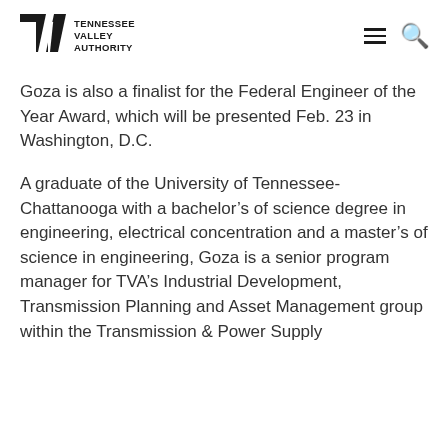TVA Tennessee Valley Authority
Goza is also a finalist for the Federal Engineer of the Year Award, which will be presented Feb. 23 in Washington, D.C.
A graduate of the University of Tennessee-Chattanooga with a bachelor’s of science degree in engineering, electrical concentration and a master’s of science in engineering, Goza is a senior program manager for TVA’s Industrial Development, Transmission Planning and Asset Management group within the Transmission & Power Supply